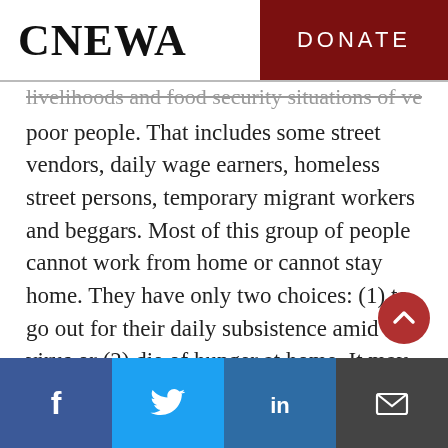CNEWA | DONATE
livelihoods and food security situations of very poor people. That includes some street vendors, daily wage earners, homeless street persons, temporary migrant workers and beggars. Most of this group of people cannot work from home or cannot stay home. They have only two choices: (1) to go out for their daily subsistence amid the virus or (2) die of hunger at home. It may be very challenging to keep these people at home, as they may engage in some criminal acts to access food.
Facebook | Twitter | LinkedIn | Email